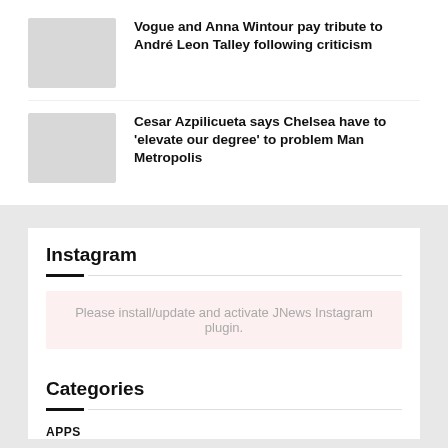Vogue and Anna Wintour pay tribute to André Leon Talley following criticism
Cesar Azpilicueta says Chelsea have to 'elevate our degree' to problem Man Metropolis
Instagram
Please install/update and activate JNews Instagram plugin.
Categories
APPS